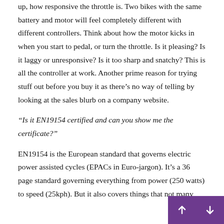up, how responsive the throttle is. Two bikes with the same battery and motor will feel completely different with different controllers. Think about how the motor kicks in when you start to pedal, or turn the throttle. Is it pleasing? Is it laggy or unresponsive? Is it too sharp and snatchy? This is all the controller at work. Another prime reason for trying stuff out before you buy it as there’s no way of telling by looking at the sales blurb on a company website.
“Is it EN19154 certified and can you show me the certificate?”
EN19154 is the European standard that governs electric power assisted cycles (EPACs in Euro-jargon). It’s a 36 page standard governing everything from power (250 watts) to speed (25kph). But it also covers things that not many